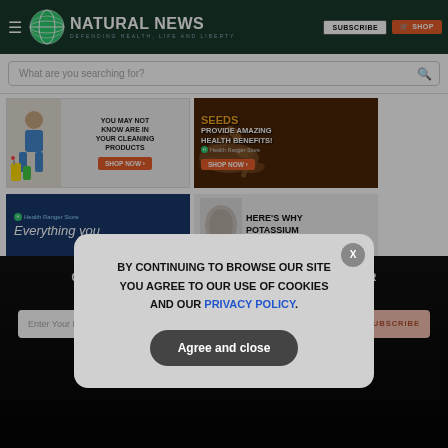Natural News — Defending Health, Life and Liberty
What are you searching for?
[Figure (screenshot): Advertisement: YOU MAY NOT KNOW ARE IN YOUR CLEANING PRODUCTS — SHOP NOW]
[Figure (screenshot): Advertisement: SEEDS PROVIDE AMAZING HEALTH BENEFITS! Health Ranger Store — SHOP NOW]
[Figure (screenshot): Health Ranger Store — Everything you]
[Figure (screenshot): Advertisement: HERE'S WHY POTASSIUM]
GET THE WORLD'S BEST NATURAL HEALTH NEWSLETTER DELIVERED STRAIGHT TO YOUR INBOX
Enter Your Email Address
SUBSCRIBE
BY CONTINUING TO BROWSE OUR SITE YOU AGREE TO OUR USE OF COOKIES AND OUR PRIVACY POLICY.
Agree and close